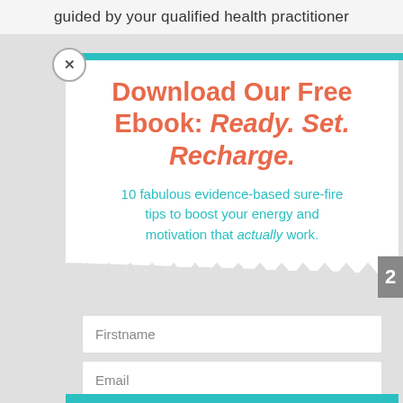guided by your qualified health practitioner
Download Our Free Ebook: Ready. Set. Recharge.
10 fabulous evidence-based sure-fire tips to boost your energy and motivation that actually work.